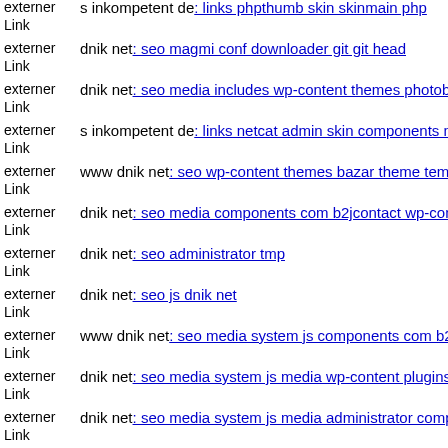externer Link  s inkompetent de: links phpthumb skin skinmain php
externer Link  dnik net: seo magmi conf downloader git git head
externer Link  dnik net: seo media includes wp-content themes photobox s
externer Link  s inkompetent de: links netcat admin skin components mail
externer Link  www dnik net: seo wp-content themes bazar theme templat
externer Link  dnik net: seo media components com b2jcontact wp-conten
externer Link  dnik net: seo administrator tmp
externer Link  dnik net: seo js dnik net
externer Link  www dnik net: seo media system js components com b2jco
externer Link  dnik net: seo media system js media wp-content plugins rev
externer Link  dnik net: seo media system js media administrator compone
externer Link  dnik net: seo media components com b2jcontact wp-include